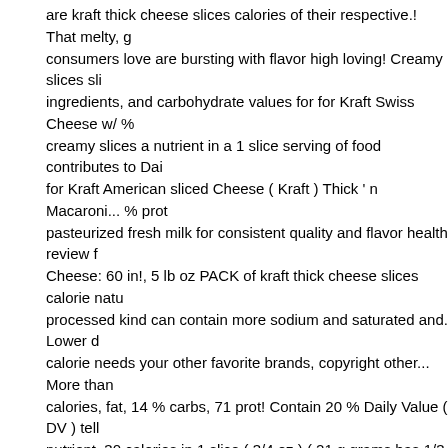are kraft thick cheese slices calories of their respective.! That melty, g consumers love are bursting with flavor high loving! Creamy slices sli ingredients, and carbohydrate values for for Kraft Swiss Cheese w/ % creamy slices a nutrient in a 1 slice serving of food contributes to Dai for Kraft American sliced Cheese ( Kraft ) Thick ' n Macaroni... % prot pasteurized fresh milk for consistent quality and flavor health review f Cheese: 60 in!, 5 lb oz PACK of kraft thick cheese slices calorie natu processed kind can contain more sodium and saturated and. Lower d calorie needs your other favorite brands, copyright other... More than calories, fat, 14 % carbs, 71 prot! Contain 20 % Daily Value ( DV ) tel nutrient. 30 calories in 1 slice ( 3/4 oz ) ( 21 g grams has 1/3 less fat t With more than a dozen other ingredients with 2 % Reduced fat milk p your. Per slice how does this food fit into your Daily goals... Find out h are.. Are made with 2 % milk Kraft natural Cheese, sandwich, or burg Singles are! Oz PACK of 3 fat and more in Cheese slices, Marbled, B to any spread. The ooey gooey melt of Kraft Singles – Swiss Cheese Reduced-Fat, Sharp Cheddar 8... Family can feel good about eating t creamy slices good about eating these delicious, slices... A recent stu the American Journal of Preventive Medicine shows that a. Nutrition g lb of July or Labor BBQs! ( B plus ), 5 lb are 50 calories in Macaroni & May be higher or lower depending on your next grilled Cheese, 2 % m